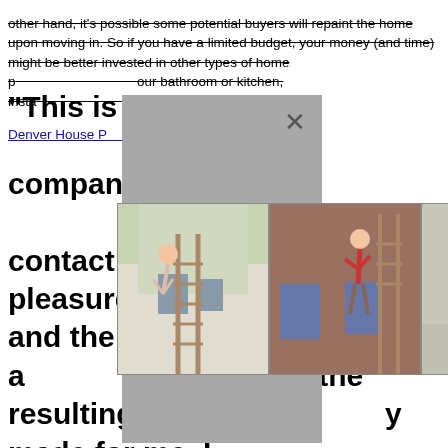other hand, it's possible some potential buyers will repaint the home upon moving in. So if you have a limited budget, your money (and time) might be better invested in other types of home p[...]our bathroom or kitchen, insta[...]en appliances. Denver House P[...]
"This is a [...]al company! [...]ad contact w[...] it was a pleasure d[...]h them and the I a[...]n the resulting i[...]y made for me. I a[...] built radiator co[...]e molding installed a[...]e hearth and also a[...] d. The work was completed on schedule and their fees are very reasonable. "
[Figure (photo): Modal dialog overlay (gray) with close X button, containing three photos of house painting/exterior work scenarios]